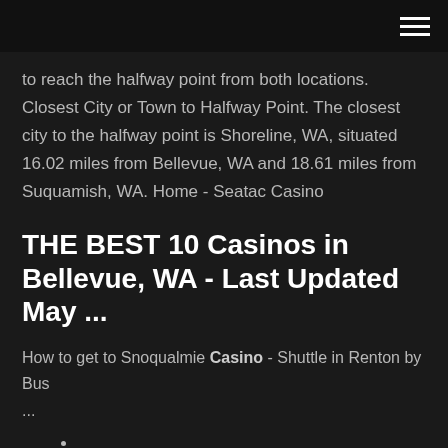to reach the halfway point from both locations. Closest City or Town to Halfway Point. The closest city to the halfway point is Shoreline, WA, situated 16.02 miles from Bellevue, WA and 18.61 miles from Suquamish, WA. Home - Seatac Casino
THE BEST 10 Casinos in Bellevue, WA - Last Updated May ...
How to get to Snoqualmie Casino - Shuttle in Renton by Bus ...